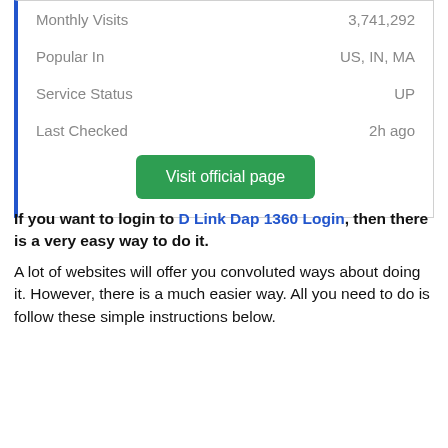|  |  |
| --- | --- |
| Monthly Visits | 3,741,292 |
| Popular In | US, IN, MA |
| Service Status | UP |
| Last Checked | 2h ago |
Visit official page
If you want to login to D Link Dap 1360 Login, then there is a very easy way to do it.
A lot of websites will offer you convoluted ways about doing it. However, there is a much easier way. All you need to do is follow these simple instructions below.